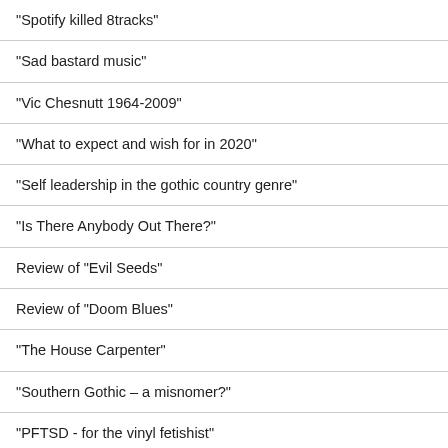"Spotify killed 8tracks"
"Sad bastard music"
"Vic Chesnutt 1964-2009"
"What to expect and wish for in 2020"
"Self leadership in the gothic country genre"
"Is There Anybody Out There?"
Review of "Evil Seeds"
Review of "Doom Blues"
"The House Carpenter"
"Southern Gothic – a misnomer?"
"PFTSD - for the vinyl fetishist"